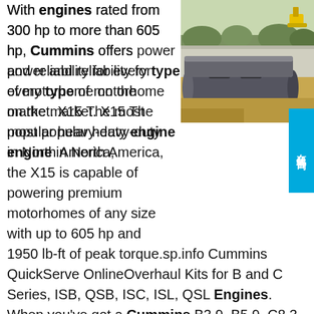With engines rated from 300 hp to more than 605 hp, Cummins offers power and reliability for every type of motorhome on the market. X15 The most popular heavy-duty engine in North America, the X15 is capable of powering premium motorhomes of any size with up to 605 hp and 1950 lb-ft of peak torque.sp.info Cummins QuickServe OnlineOverhaul Kits for B and C Series, ISB, QSB, ISC, ISL, QSL Engines. When you've got a Cummins B3.9, B5.9, C8.3, ISB 5.9, QSB 6.7, ISC 8.3, ISL, QSL 9 engine that needs an overhaul, there's a genuine advantage to using a Cummins MidRange Overhaul Kit. Cummins MidRange overhaul kits include all the mandatory parts needed to perform a basic overhaul.sp.info Top RV Maintenance Tips from Cummins for Travel Season …Apr 01, 2018 · Cummins is a global power leader that designs, manufactures and services engines, alternators and related…
[Figure (photo): Outdoor construction site photo showing large concrete/steel cylindrical tanks or pipes partially buried in the ground with sand/soil around them, taken from above angle, with construction equipment visible in background.]